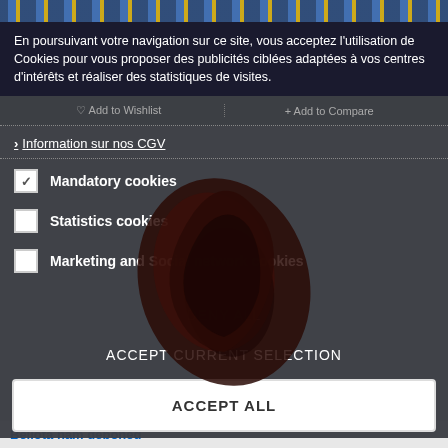En poursuivant votre navigation sur ce site, vous acceptez l'utilisation de Cookies pour vous proposer des publicités ciblées adaptées à vos centres d'intérêts et réaliser des statistiques de visites.
Add to Wishlist
+ Add to Compare
> Information sur nos CGV
Mandatory cookies
Statistics cookies
Marketing and Social network cookies
DENY ALL
ACCEPT CURRENT SELECTION
ACCEPT ALL
Bellota ham deboned